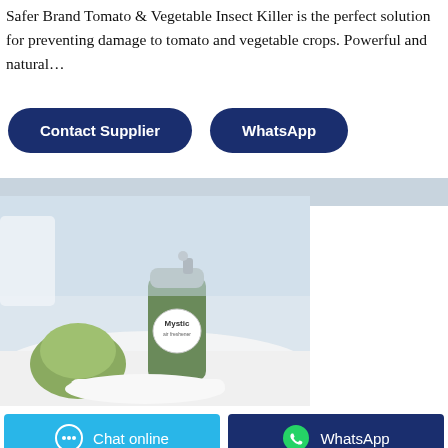Safer Brand Tomato & Vegetable Insect Killer is the perfect solution for preventing damage to tomato and vegetable crops. Powerful and natural…
[Figure (screenshot): Two buttons: 'Contact Supplier' (dark navy, rounded) and 'WhatsApp' (dark navy, rounded)]
[Figure (photo): Product photo of a Mystic brand aerosol spray can with green cap on a white surface with light blue background]
All Products
[Figure (screenshot): Two buttons at bottom: 'Chat online' (cyan/light blue with chat bubble icon) and 'WhatsApp' (dark navy with WhatsApp icon)]